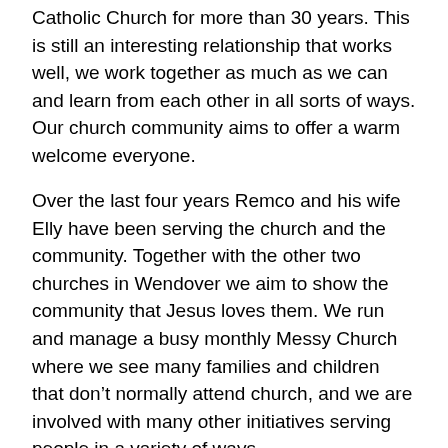Catholic Church for more than 30 years.  This is still an interesting relationship that works well, we work together as much as we can and learn from each other in all sorts of ways.  Our church community aims to offer a warm welcome everyone.
Over the last four years Remco and his wife Elly have been serving the church and the community.  Together with the other two churches in Wendover we aim to show the community that Jesus loves them.  We run and manage a busy monthly Messy Church where we see many families and children that don’t normally attend church, and we are involved with many other initiatives serving people in a variety of ways.
We ask for prayers for:
Discipleship at and through Messy Church.  As this